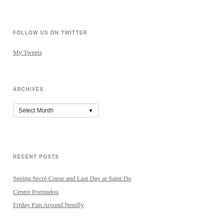FOLLOW US ON TWITTER
My Tweets
ARCHIVES
Select Month
RECENT POSTS
Seeing Secré Coeur and Last Day at Saint Do
Centre Pompidou
Friday Fun Around Neuilly